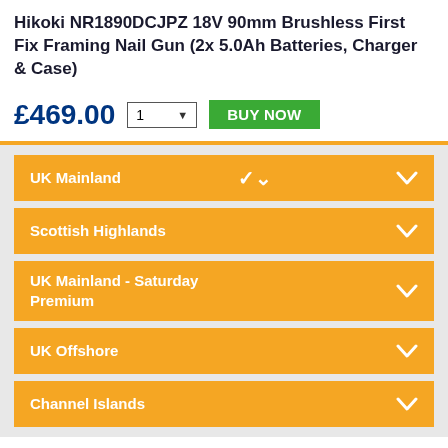Hikoki NR1890DCJPZ 18V 90mm Brushless First Fix Framing Nail Gun (2x 5.0Ah Batteries, Charger & Case)
£469.00
UK Mainland
Scottish Highlands
UK Mainland - Saturday Premium
UK Offshore
Channel Islands